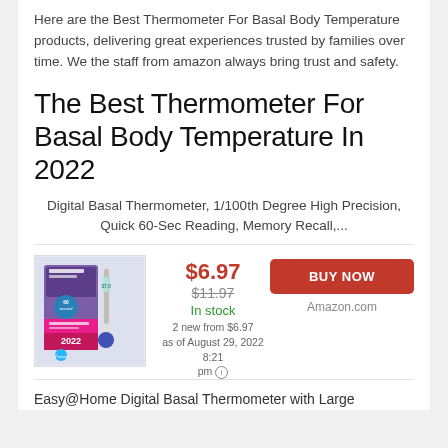Here are the Best Thermometer For Basal Body Temperature products, delivering great experiences trusted by families over time. We the staff from amazon always bring trust and safety.
The Best Thermometer For Basal Body Temperature In 2022
Digital Basal Thermometer, 1/100th Degree High Precision, Quick 60-Sec Reading, Memory Recall,...
[Figure (photo): Product image of a digital basal body thermometer with packaging showing 60 second measurement, for ovulation, featuring 2022 branding]
$6.97 $11.97 In stock 2 new from $6.97 as of August 29, 2022 8:21 pm
BUY NOW Amazon.com
Easy@Home Digital Basal Thermometer with Large